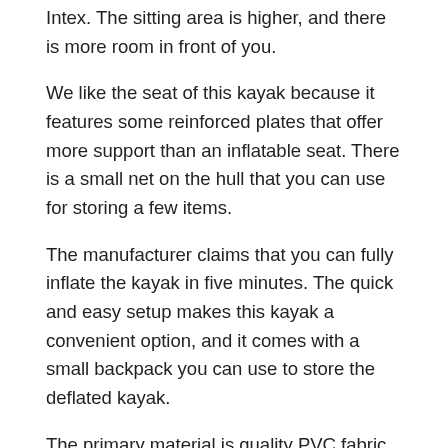Intex. The sitting area is higher, and there is more room in front of you.
We like the seat of this kayak because it features some reinforced plates that offer more support than an inflatable seat. There is a small net on the hull that you can use for storing a few items.
The manufacturer claims that you can fully inflate the kayak in five minutes. The quick and easy setup makes this kayak a convenient option, and it comes with a small backpack you can use to store the deflated kayak.
The primary material is quality PVC fabric. There is a layer of tarpaulin on the bottom of the kayak to prevent tears. There are different air chambers to prevent the kayak from sinking if you damage it.